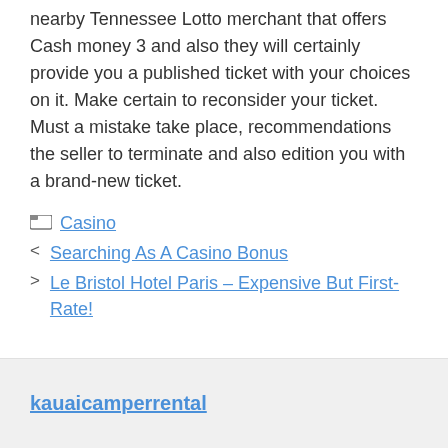nearby Tennessee Lotto merchant that offers Cash money 3 and also they will certainly provide you a published ticket with your choices on it. Make certain to reconsider your ticket. Must a mistake take place, recommendations the seller to terminate and also edition you with a brand-new ticket.
Casino
< Searching As A Casino Bonus
> Le Bristol Hotel Paris – Expensive But First-Rate!
kauaicamperrental